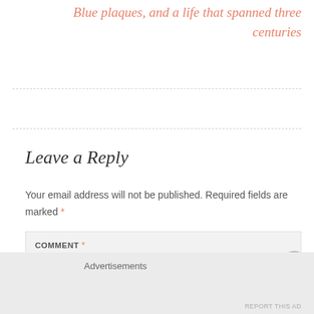Blue plaques, and a life that spanned three centuries
Leave a Reply
Your email address will not be published. Required fields are marked *
COMMENT *
Advertisements
REPORT THIS AD